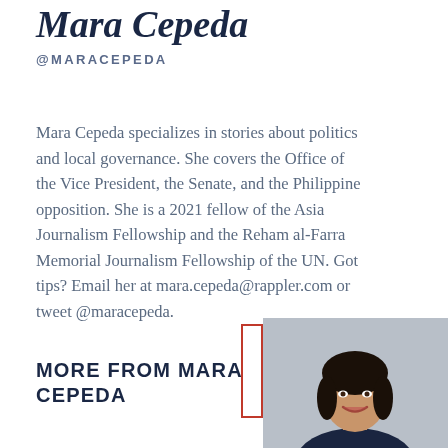Mara Cepeda
@MARACEPEDA
Mara Cepeda specializes in stories about politics and local governance. She covers the Office of the Vice President, the Senate, and the Philippine opposition. She is a 2021 fellow of the Asia Journalism Fellowship and the Reham al-Farra Memorial Journalism Fellowship of the UN. Got tips? Email her at mara.cepeda@rappler.com or tweet @maracepeda.
MORE FROM MARA CEPEDA
[Figure (photo): Portrait photo of Mara Cepeda, a woman with dark hair, smiling, wearing a dark top, against a light grey background.]